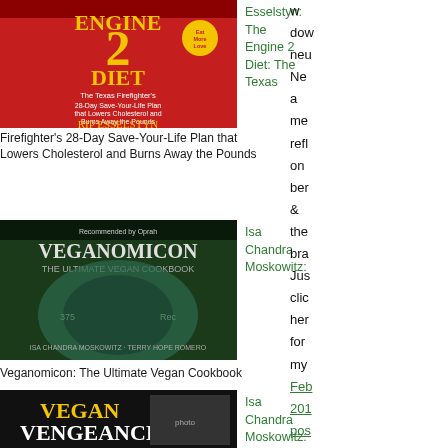[Figure (photo): Book cover for The Engine 2 Diet by Rip Esselstyn, red cover with yellow text]
Esselstyn: The Engine 2 Diet: The Texas
Firefighter's 28-Day Save-Your-Life Plan that Lowers Cholesterol and Burns Away the Pounds
[Figure (photo): Book cover for Veganomicon: The Ultimate Vegan Cookbook by Isa Chandra Moskowitz, dark green cover]
Isa Chandra Moskowitz:
Veganomicon: The Ultimate Vegan Cookbook
[Figure (photo): Book cover for Vegan with a Vengeance by Isa Chandra Moskowitz, dark cover with two women]
Isa Chandra Moskowitz: Vegan with a
w
dow
neu
Ne
a
me
refl
on
ber
&
the
bra
Jus
clic
her
for
my
Feb
201
pos
Bu
Her
the